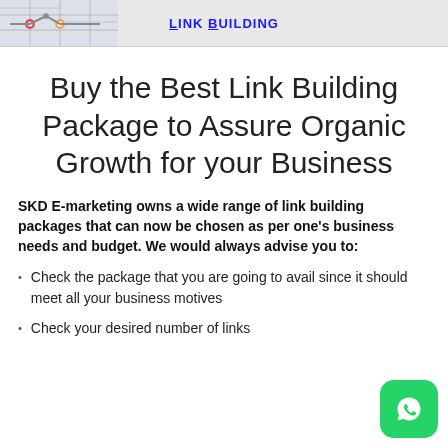Link Building
Buy the Best Link Building Package to Assure Organic Growth for your Business
SKD E-marketing owns a wide range of link building packages that can now be chosen as per one's business needs and budget. We would always advise you to:
Check the package that you are going to avail since it should meet all your business motives
Check your desired number of links
Check the type of content that they are going to create